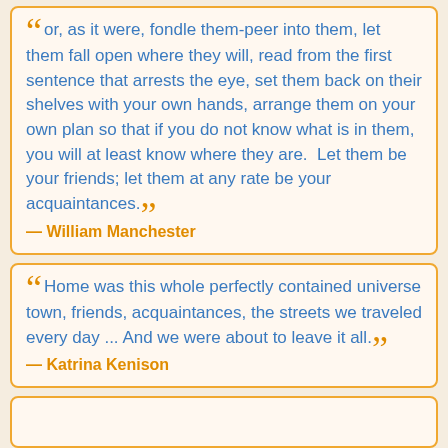“ or, as it were, fondle them-peer into them, let them fall open where they will, read from the first sentence that arrests the eye, set them back on their shelves with your own hands, arrange them on your own plan so that if you do not know what is in them, you will at least know where they are. Let them be your friends; let them at any rate be your acquaintances.” — William Manchester
“ Home was this whole perfectly contained universe town, friends, acquaintances, the streets we traveled every day ... And we were about to leave it all.” — Katrina Kenison